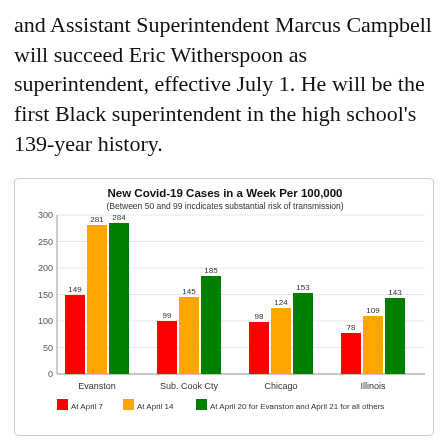and Assistant Superintendent Marcus Campbell will succeed Eric Witherspoon as superintendent, effective July 1. He will be the first Black superintendent in the high school's 139-year history.
[Figure (grouped-bar-chart): New Covid-19 Cases in a Week Per 100,000]